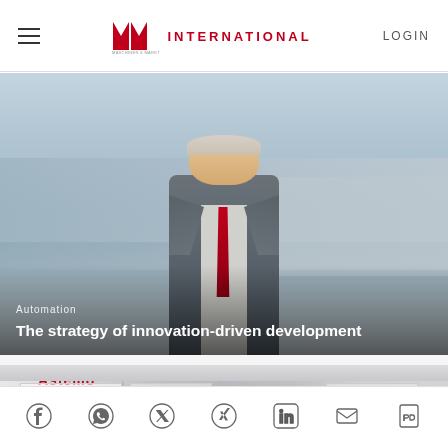MM INTERNATIONAL — LOGIN
[Figure (photo): Man in grey suit with red tie smiling outdoors, with industrial building in background. Overlay text shows category 'Automation' and title 'The strategy of innovation-driven development']
Automation
The strategy of innovation-driven development
[Figure (photo): Exhibition/trade fair booth with 'Astemo' branding, showing white booth structure and display panels]
Social share icons: Facebook, WhatsApp, Twitter, Xing, LinkedIn, Email, PDF